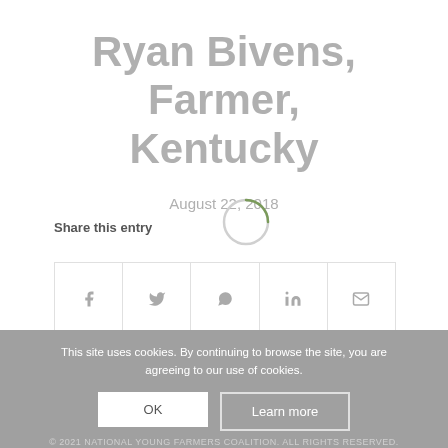Ryan Bivens, Farmer, Kentucky
August 22, 2018
Share this entry
[Figure (other): Loading spinner circle indicator]
[Figure (infographic): Social share buttons row: Facebook, Twitter, WhatsApp, LinkedIn, Email]
This site uses cookies. By continuing to browse the site, you are agreeing to our use of cookies.
OK
Learn more
© 2021 NATIONAL YOUNG FARMERS COALITION. ALL RIGHTS RESERVED.